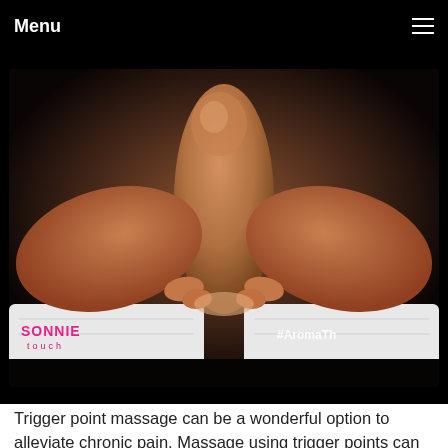Menu
[Figure (photo): Close-up photo of hands performing a trigger point massage on a foot or toe. The hands are holding and pressing the toes from both sides. A white towel is visible beneath. Lower-left watermark reads 'SONNIE TOUCH' in pink. Lower-right watermark reads '#AromaTh...' in white.]
Trigger point massage can be a wonderful option to alleviate chronic pain. Massage using trigger points can